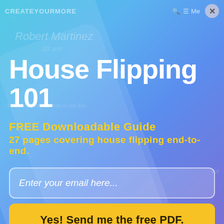CREATEYOURMORE  Menu ×
House Flipping 101
FREE Downloadable Guide
27 pages covering house flipping end-to-end.
Enter your email here...
Yes! Send me the free PDF.